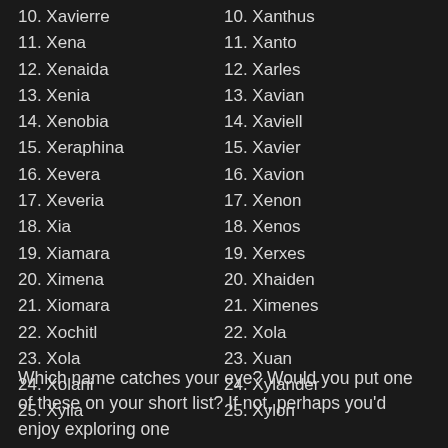10. Xavierre
11. Xena
12. Xenaida
13. Xenia
14. Xenobia
15. Xeraphina
16. Xevera
17. Xeveria
18. Xia
19. Xiamara
20. Ximena
21. Xiomara
22. Xochitl
23. Xola
24. Xolani
25. Xylia
10. Xanthus
11. Xanto
12. Xarles
13. Xavian
14. Xaviell
15. Xavier
16. Xavion
17. Xenon
18. Xenos
19. Xerxes
20. Xhaiden
21. Ximenes
22. Xola
23. Xuan
24. Xylander
25. Xylon
Which name catches your eye? Would you put one of these on your short list? If not, perhaps you'd enjoy exploring one